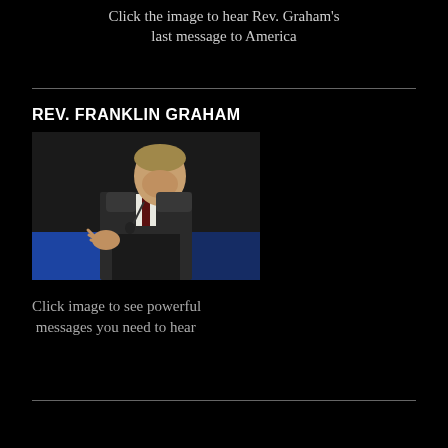Click the image to hear Rev. Graham's last message to America
REV. FRANKLIN GRAHAM
[Figure (photo): Rev. Franklin Graham speaking at a podium with a microphone, wearing a dark suit, white shirt, and dark tie, gesturing with his right hand. Blue lighting visible in background.]
Click image to see powerful messages you need to hear